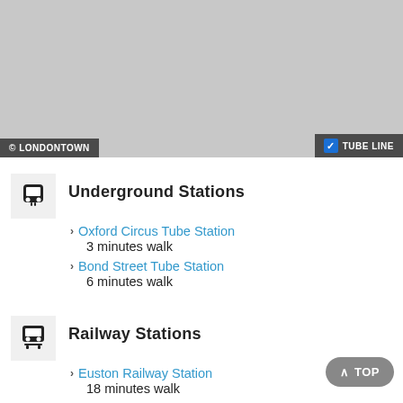[Figure (map): Greyed out map area with overlay labels: © LONDONTOWN on the left and a checked TUBE LINE checkbox on the right]
Underground Stations
Oxford Circus Tube Station
3 minutes walk
Bond Street Tube Station
6 minutes walk
Railway Stations
Euston Railway Station
18 minutes walk
Marylebone Railway Station
18 minutes walk